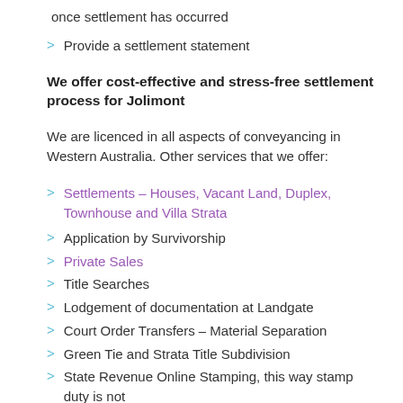once settlement has occurred
Provide a settlement statement
We offer cost-effective and stress-free settlement process for Jolimont
We are licenced in all aspects of conveyancing in Western Australia. Other services that we offer:
Settlements – Houses, Vacant Land, Duplex, Townhouse and Villa Strata
Application by Survivorship
Private Sales
Title Searches
Lodgement of documentation at Landgate
Court Order Transfers – Material Separation
Green Tie and Strata Title Subdivision
State Revenue Online Stamping, this way stamp duty is not